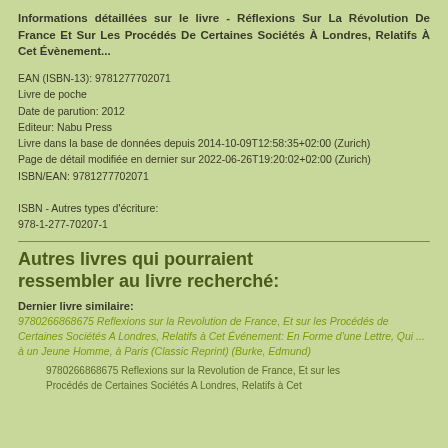Informations détaillées sur le livre - Réflexions Sur La Révolution De France Et Sur Les Procédés De Certaines Sociétés À Londres, Relatifs À Cet Évènement...
EAN (ISBN-13): 9781277702071
Livre de poche
Date de parution: 2012
Editeur: Nabu Press
Livre dans la base de données depuis 2014-10-09T12:58:35+02:00 (Zurich)
Page de détail modifiée en dernier sur 2022-06-26T19:20:02+02:00 (Zurich)
ISBN/EAN: 9781277702071
ISBN - Autres types d'écriture:
978-1-277-70207-1
Autres livres qui pourraient ressembler au livre recherché:
Dernier livre similaire:
9780266868675 Reflexions sur la Revolution de France, Et sur les Procédés de Certaines Sociétés A Londres, Relatifs à Cet Événement: En Forme d'une Lettre, Qui ... à un Jeune Homme, à Paris (Classic Reprint) (Burke, Edmund)
9780266868675 Reflexions sur la Revolution de France, Et sur les Procédés de Certaines Sociétés A Londres, Relatifs à Cet